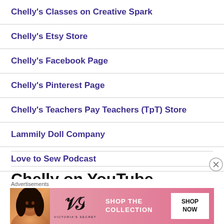Chelly's Classes on Creative Spark
Chelly's Etsy Store
Chelly's Facebook Page
Chelly's Pinterest Page
Chelly's Teachers Pay Teachers (TpT) Store
Lammily Doll Company
Love to Sew Podcast
Chelly on YouTube
[Figure (infographic): Victoria's Secret advertisement banner with model, VS logo, 'SHOP THE COLLECTION' text and 'SHOP NOW' button on pink background]